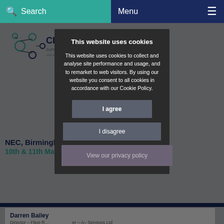Search | Menu
[Figure (screenshot): Chemutek website background with logo, NEC Birmingham dates, speaker card for Darren Bailey, and Thursday schedule section, partially visible behind cookie consent overlay]
This website uses cookies
This website uses cookies to collect and analyse site performance and usage, and to remarket to web visitors. By using our website you consent to all cookies in accordance with our Cookie Policy.
I agree
I disagree
View our privacy policy